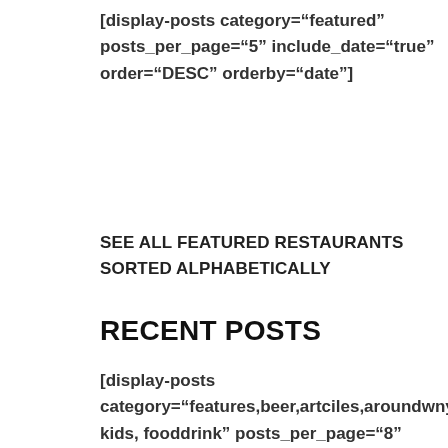[display-posts category="featured" posts_per_page="5" include_date="true" order="DESC" orderby="date"]
SEE ALL FEATURED RESTAURANTS SORTED ALPHABETICALLY
RECENT POSTS
[display-posts category="features,beer,artciles,aroundwny, kids, fooddrink" posts_per_page="8" include_date="true"order="DESC"